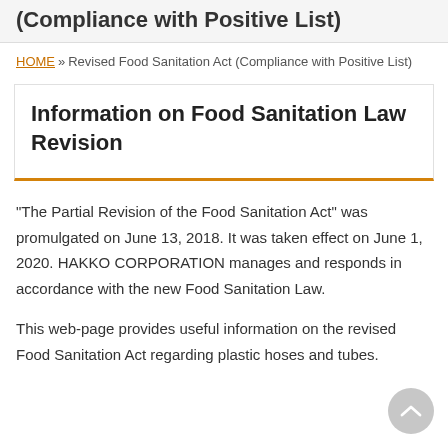(Compliance with Positive List)
HOME » Revised Food Sanitation Act (Compliance with Positive List)
Information on Food Sanitation Law Revision
“The Partial Revision of the Food Sanitation Act” was promulgated on June 13, 2018. It was taken effect on June 1, 2020. HAKKO CORPORATION manages and responds in accordance with the new Food Sanitation Law.
This web-page provides useful information on the revised Food Sanitation Act regarding plastic hoses and tubes.